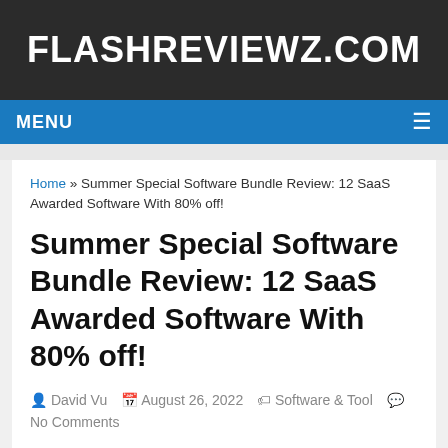FLASHREVIEWZ.COM
MENU
Home » Summer Special Software Bundle Review: 12 SaaS Awarded Software With 80% off!
Summer Special Software Bundle Review: 12 SaaS Awarded Software With 80% off!
David Vu   August 26, 2022   Software & Tool   No Comments
You see… The big secret to building a profitable and